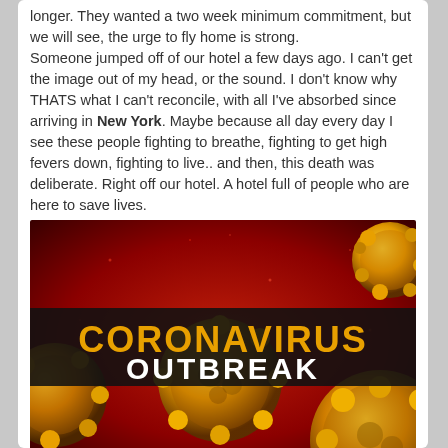longer. They wanted a two week minimum commitment, but we will see, the urge to fly home is strong. Someone jumped off of our hotel a few days ago. I can't get the image out of my head, or the sound. I don't know why THATS what I can't reconcile, with all I've absorbed since arriving in New York. Maybe because all day every day I see these people fighting to breathe, fighting to get high fevers down, fighting to live.. and then, this death was deliberate. Right off our hotel. A hotel full of people who are here to save lives.
[Figure (photo): Coronavirus Outbreak graphic with yellow-orange coronavirus cells on a red background. A dark banner reads 'CORONAVIRUS OUTBREAK' in large bold text.]